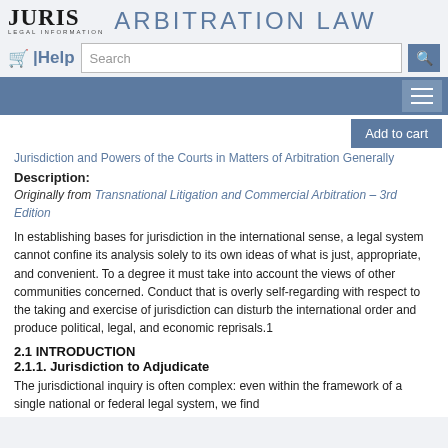JURIS LEGAL INFORMATION — Arbitration Law
[Figure (logo): Juris Legal Information logo with shopping cart, Help link, search box, and hamburger menu on blue navigation bar]
Jurisdiction and Powers of the Courts in Matters of Arbitration Generally
Description:
Originally from Transnational Litigation and Commercial Arbitration – 3rd Edition
In establishing bases for jurisdiction in the international sense, a legal system cannot confine its analysis solely to its own ideas of what is just, appropriate, and convenient. To a degree it must take into account the views of other communities concerned. Conduct that is overly self-regarding with respect to the taking and exercise of jurisdiction can disturb the international order and produce political, legal, and economic reprisals.1
2.1 INTRODUCTION
2.1.1. Jurisdiction to Adjudicate
The jurisdictional inquiry is often complex: even within the framework of a single national or federal legal system, we find